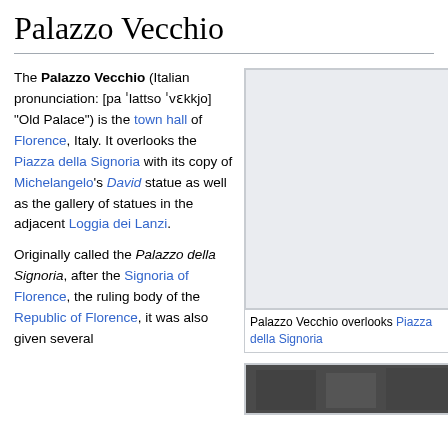Palazzo Vecchio
The Palazzo Vecchio (Italian pronunciation: [pa ˈlattso ˈvɛkkjo] "Old Palace") is the town hall of Florence, Italy. It overlooks the Piazza della Signoria with its copy of Michelangelo's David statue as well as the gallery of statues in the adjacent Loggia dei Lanzi.
[Figure (photo): Photo of Palazzo Vecchio (placeholder gray box)]
Palazzo Vecchio overlooks Piazza della Signoria
Originally called the Palazzo della Signoria, after the Signoria of Florence, the ruling body of the Republic of Florence, it was also given several
[Figure (photo): Bottom photo (partially visible, dark image)]